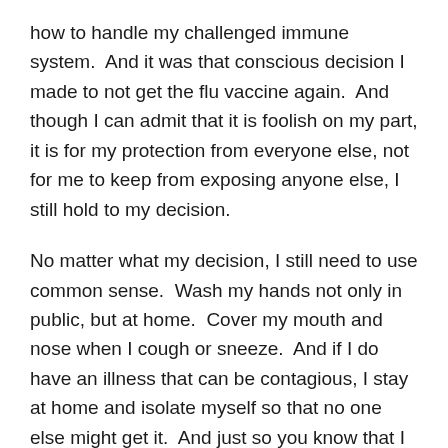how to handle my challenged immune system.  And it was that conscious decision I made to not get the flu vaccine again.  And though I can admit that it is foolish on my part, it is for my protection from everyone else, not for me to keep from exposing anyone else, I still hold to my decision.
No matter what my decision, I still need to use common sense.  Wash my hands not only in public, but at home.  Cover my mouth and nose when I cough or sneeze.  And if I do have an illness that can be contagious, I stay at home and isolate myself so that no one else might get it.  And just so you know that I understand the risk I am taking, stay tuned for a future post on my first battle with pneumonia.
But just as I mentioned at the beginning of this post,